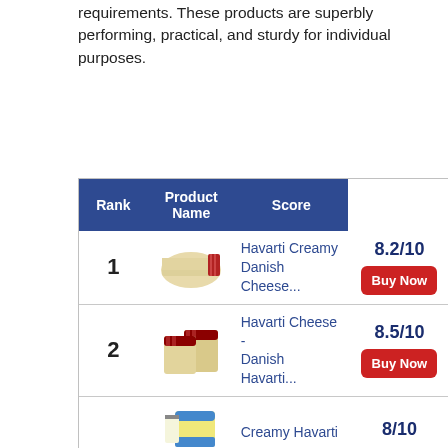requirements. These products are superbly performing, practical, and sturdy for individual purposes.
| Rank | Product Name | Score |
| --- | --- | --- |
| 1 | Havarti Creamy Danish Cheese... | 8.2/10 |
| 2 | Havarti Cheese - Danish Havarti... | 8.5/10 |
| 3 | Creamy Havarti | 8/10 |